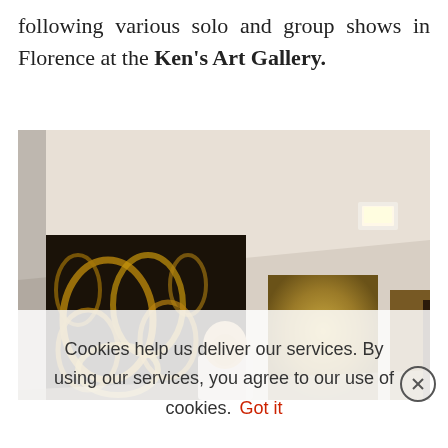following various solo and group shows in Florence at the Ken's Art Gallery.
[Figure (photo): Interior of an art gallery showing a bald man standing among large dark paintings with gold decorative patterns on white walls. Multiple framed artworks visible in a bright gallery space.]
Cookies help us deliver our services. By using our services, you agree to our use of cookies. Got it